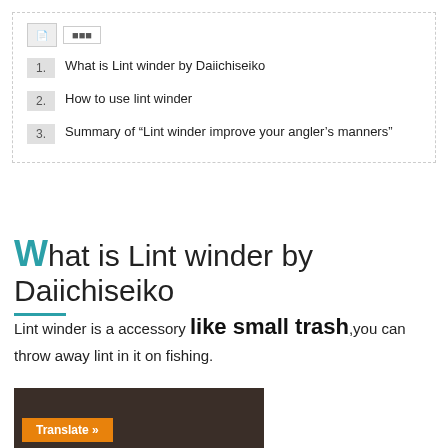1. What is Lint winder by Daiichiseiko
2. How to use lint winder
3. Summary of "Lint winder improve your angler's manners"
What is Lint winder by Daiichiseiko
Lint winder is a accessory like small trash,you can throw away lint in it on fishing.
[Figure (photo): Photo of a product (lint winder) with a Translate button overlay]